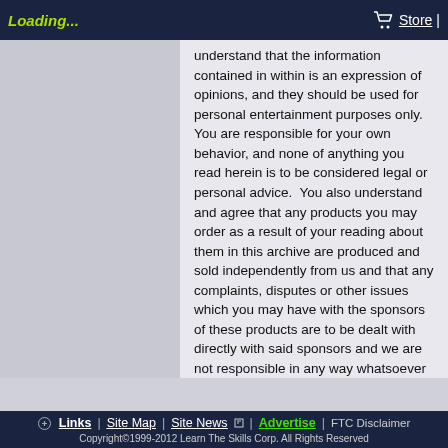Loading... | Store
understand that the information contained in within is an expression of opinions, and they should be used for personal entertainment purposes only. You are responsible for your own behavior, and none of anything you read herein is to be considered legal or personal advice.  You also understand and agree that any products you may order as a result of your reading about them in this archive are produced and sold independently from us and that any complaints, disputes or other issues which you may have with the sponsors of these products are to be dealt with directly with said sponsors and we are not responsible in any way whatsoever for any issues which you may have with them.   If you are not in agreement with any of this, please leave his site now.
DISCLAIMERS:
This newsletter and the newsletter archive in general is reproduced here with Clifford's permission.  Visual enhancements and search features have been added by the...
Links | Site Map | Site News | Advertise | FTC Disclaimer
Copyright©1999-2012 Learn The Skills Corp. All Rights Reserved